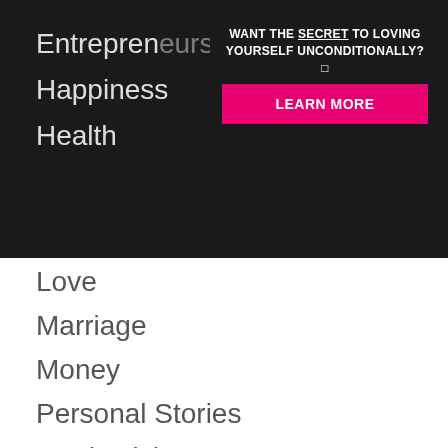Entrepreneurs
Happiness
Health
[Figure (screenshot): Dark popup banner with text 'WANT THE SECRET TO LOVING YOURSELF UNCONDITIONALLY?' and a pink 'LEARN MORE' button]
Love
Marriage
Money
Personal Stories
Productivity
Relationships
Self-help
Self-improvement
Tips for men